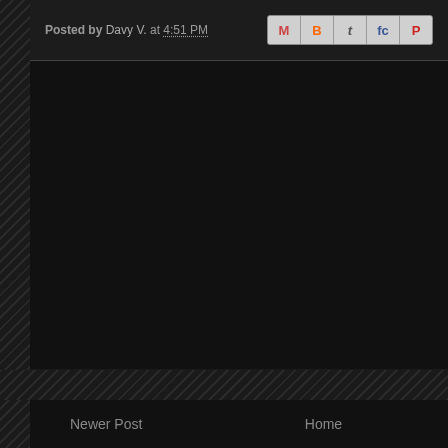Posted by Davy V. at 4:51 PM
[Figure (other): Social sharing buttons: Gmail (M), Blogger (B), Twitter (t), Facebook (fc), Pinterest (P)]
[Figure (other): Dark comment/content area below post metadata]
Newer Post    Home